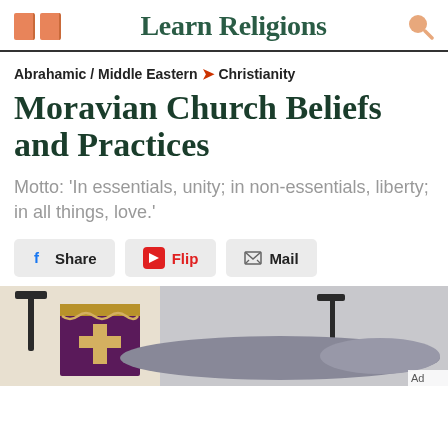Learn Religions
Abrahamic / Middle Eastern > Christianity
Moravian Church Beliefs and Practices
Motto: 'In essentials, unity; in non-essentials, liberty; in all things, love.'
Share  Flip  Mail
[Figure (photo): Church procession with banners/flags hanging from building exterior; purple and gold ceremonial banners visible, people in background]